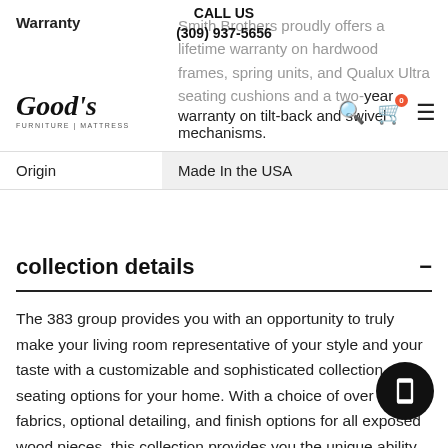CALL US
(309) 937-5656
[Figure (logo): Good's Furniture Mattress logo in italic script]
| Warranty | Smith Brothers proudly offers a lifetime warranty on hardwood frames, spring units, and Qualux Ultra seating cushions and a two-year warranty on tilt-back and swivel mechanisms. |
| Origin | Made In the USA |
collection details
The 383 group provides you with an opportunity to truly make your living room representative of your style and your taste with a customizable and sophisticated collection of seating options for your home. With a choice of over 800 fabrics, optional detailing, and finish options for all exposed wood pieces, this collection provides you the unique ability to coordinate everything about your living room furniture to your very specific liking. Rolled arms and plush backs add to the class of these quality constructed pieces, which will surely be